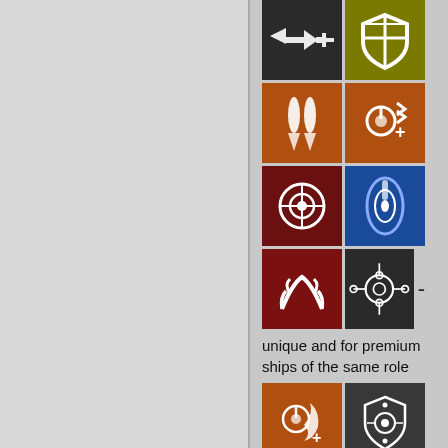[Figure (infographic): Grid of game module icons: row1: speed/movement icon (dark bg), shield icon (olive/yellow bg); row2: torpedo icon (orange bg), repair/boost icon (orange bg); row3: radar/sensor icon (dark red bg), target icon (blue bg); row4: claw/grab icon (dark red bg), drone icon (dark bg) with dash]
unique and for premium ships of the same role
[Figure (infographic): Two game module icons: repair/boost icon (orange bg), shield/drone icon (dark bg)]
[Figure (infographic): Particle/debris icon (dark bg) with '- unique' label]
Tackler modules